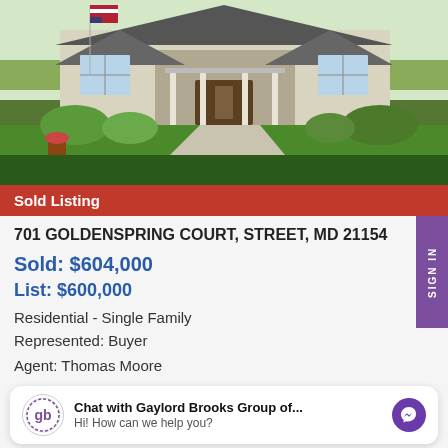[Figure (photo): Exterior photo of a single-family home with green lawn, stone facade, white siding, covered porch, American flag, and surrounding landscaping.]
Sold Listing
701 GOLDENSPRING COURT, STREET, MD 21154
Sold: $604,000
List: $600,000
Residential - Single Family
Represented: Buyer
Agent: Thomas Moore
Chat with Gaylord Brooks Group of...
Hi! How can we help you?
BEDS	BATHS	SQFT